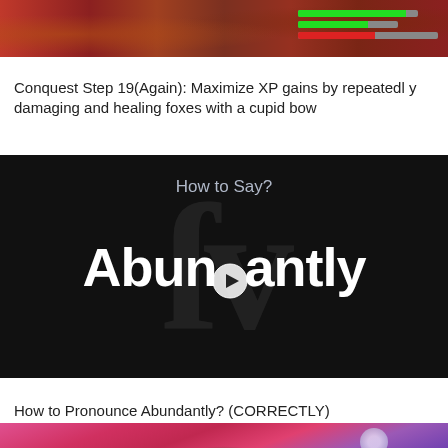[Figure (screenshot): Gaming screenshot showing battle scene with health bars (green and red) on dark reddish-brown background]
Conquest Step 19(Again): Maximize XP gains by repeatedly damaging and healing foxes with a cupid bow
[Figure (screenshot): Video thumbnail with black background showing 'How to Say?' text at top, large watermark letters, and bold white text 'Abundantly' with a play button circle in the middle of the letter 'd']
How to Pronounce Abundantly? (CORRECTLY)
[Figure (screenshot): Colorful illustration with pink/purple cosmic background showing a small figure standing on a dark green planet/hill with a moon in the upper right]